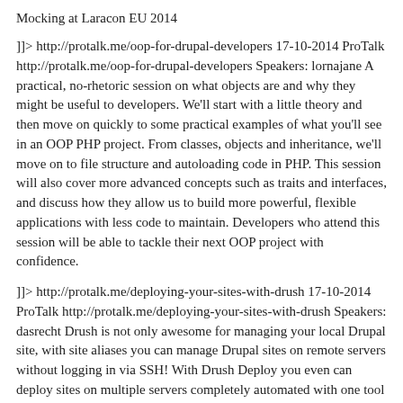Mocking at Laracon EU 2014
]]> http://protalk.me/oop-for-drupal-developers 17-10-2014 ProTalk http://protalk.me/oop-for-drupal-developers Speakers: lornajane A practical, no-rhetoric session on what objects are and why they might be useful to developers. We'll start with a little theory and then move on quickly to some practical examples of what you'll see in an OOP PHP project. From classes, objects and inheritance, we'll move on to file structure and autoloading code in PHP. This session will also cover more advanced concepts such as traits and interfaces, and discuss how they allow us to build more powerful, flexible applications with less code to maintain. Developers who attend this session will be able to tackle their next OOP project with confidence.
]]> http://protalk.me/deploying-your-sites-with-drush 17-10-2014 ProTalk http://protalk.me/deploying-your-sites-with-drush Speakers: dasrecht Drush is not only awesome for managing your local Drupal site, with site aliases you can manage Drupal sites on remote servers without logging in via SSH! With Drush Deploy you even can deploy sites on multiple servers completely automated with one tool we all aready know at heart: Drush, no other additional library like Capistrano needed! In this Session we will present how to setup Drush to work with remote sites, what is possible and what we use in our daily business. Then we will dig